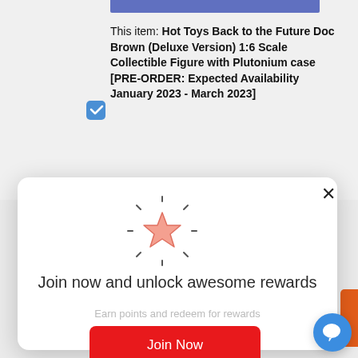This item: Hot Toys Back to the Future Doc Brown (Deluxe Version) 1:6 Scale Collectible Figure with Plutonium case [PRE-ORDER: Expected Availability January 2023 - March 2023]
Join now and unlock awesome rewards
Earn points and redeem for rewards
Join Now
Already a member? Sign in